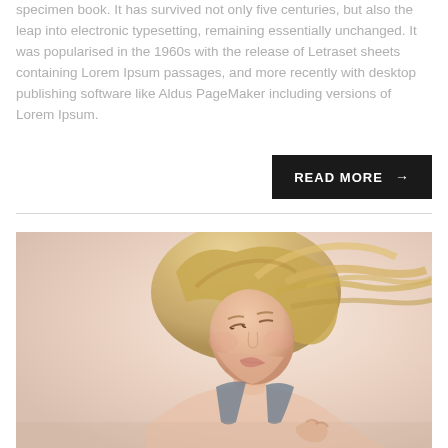specimen book. It has survived not only five centuries, but also the leap into electronic typesetting, remaining essentially unchanged. It was popularised in the 1960s with the release of Letraset sheets containing Lorem Ipsum passages, and more recently with desktop publishing software like Aldus PageMaker including versions of Lorem Ipsum.
READ MORE →
[Figure (photo): Fashion photo of a blonde woman with an updo hairstyle, head tilted back, wearing a blue strap top, against a light peach/cream background]